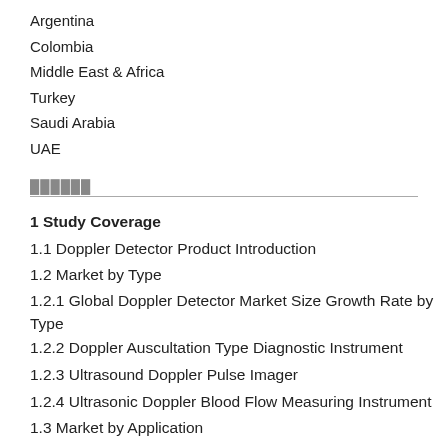Argentina
Colombia
Middle East & Africa
Turkey
Saudi Arabia
UAE
██████
1 Study Coverage
1.1 Doppler Detector Product Introduction
1.2 Market by Type
1.2.1 Global Doppler Detector Market Size Growth Rate by Type
1.2.2 Doppler Auscultation Type Diagnostic Instrument
1.2.3 Ultrasound Doppler Pulse Imager
1.2.4 Ultrasonic Doppler Blood Flow Measuring Instrument
1.3 Market by Application
1.3.1 Global Doppler Detector Market Size Growth Rate by Application